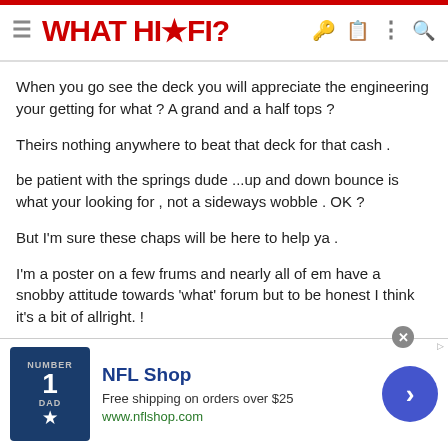WHAT HI·FI?
When you go see the deck you will appreciate the engineering your getting for what ? A grand and a half tops ?
Theirs nothing anywhere to beat that deck for that cash .
be patient with the springs dude ...up and down bounce is what your looking for , not a sideways wobble . OK ?
But I'm sure these chaps will be here to help ya .
I'm a poster on a few frums and nearly all of em have a snobby attitude towards 'what' forum but to be honest I think it's a bit of allright. !
See ya
[Figure (screenshot): NFL Shop advertisement banner with jersey image, title 'NFL Shop', 'Free shipping on orders over $25', 'www.nflshop.com', and a blue arrow button]